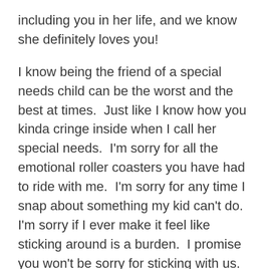including you in her life, and we know she definitely loves you!
I know being the friend of a special needs child can be the worst and the best at times.  Just like I know how you kinda cringe inside when I call her special needs.  I'm sorry for all the emotional roller coasters you have had to ride with me.  I'm sorry for any time I snap about something my kid can't do.  I'm sorry if I ever make it feel like sticking around is a burden.  I promise you won't be sorry for sticking with us.  One day I'll show up at your house and Lilah will go running into your arms for a hug, and I swear that will be worth the ride.
What I guess I'm saying is… sorry our life is so messy,